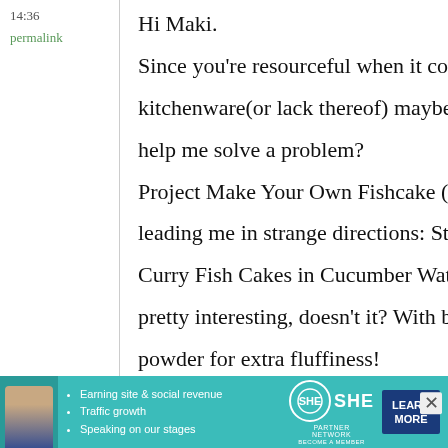14:36
permalink
Hi Maki.

Since you're resourceful when it come

kitchenware(or lack thereof) maybe yo

help me solve a problem?

Project Make Your Own Fishcake (PM

leading me in strange directions: Stea

Curry Fish Cakes in Cucumber Water.

pretty interesting, doesn't it? With bak

powder for extra fluffiness!

The steamer I can work around, but do

have an idea as to what I can stea
[Figure (screenshot): Advertisement banner for SHE Partner Network with teal background, featuring a woman's photo, bullet points about earning site & social revenue, traffic growth, speaking on stages, SHE logo, and LEARN MORE button]